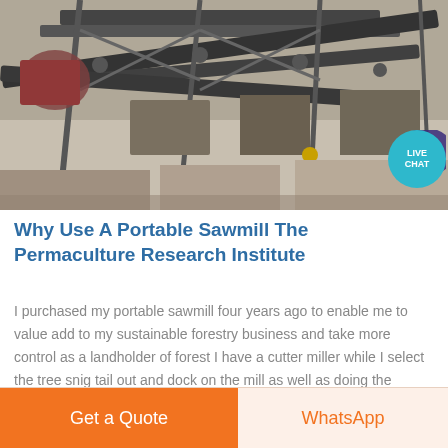[Figure (photo): Aerial or overhead view of industrial mining/crushing equipment with conveyor belts and machinery, industrial site]
Why Use A Portable Sawmill The Permaculture Research Institute
I purchased my portable sawmill four years ago to enable me to value add to my sustainable forestry business and take more control as a landholder of forest I have a cutter miller while I select the tree snig tail out and dock on the mill as well as doing the administration work and marketing Due to the nbsp